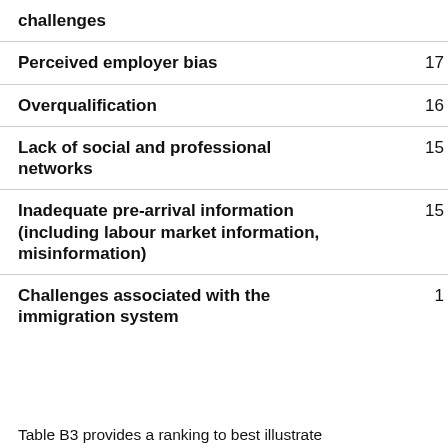| Challenge | Count |
| --- | --- |
| challenges |  |
| Perceived employer bias | 17 |
| Overqualification | 16 |
| Lack of social and professional networks | 15 |
| Inadequate pre-arrival information (including labour market information, misinformation) | 15 |
| Challenges associated with the immigration system | 1 |
Table B3 provides a ranking to best illustrate